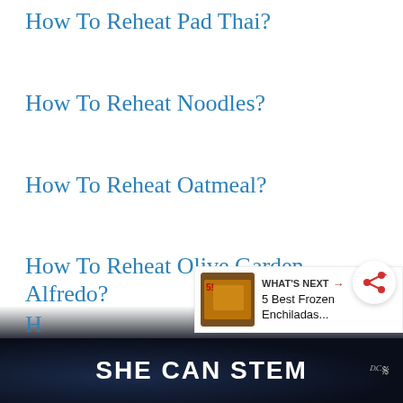How To Reheat Pad Thai?
How To Reheat Noodles?
How To Reheat Oatmeal?
How To Reheat Olive Garden Alfredo?
How To Reheat Olive Garden...
[Figure (other): Share button icon (red share/add icon on white circle)]
[Figure (other): What's Next panel with thumbnail image of frozen enchiladas and text: WHAT'S NEXT → 5 Best Frozen Enchiladas...]
SHE CAN STEM